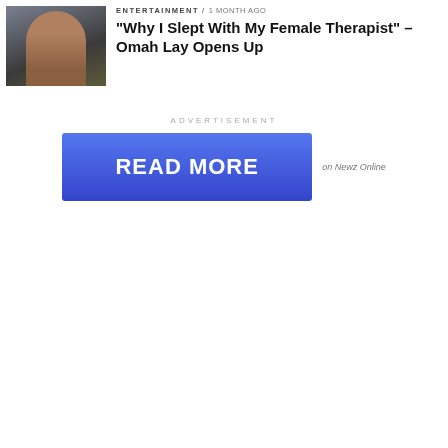[Figure (photo): Thumbnail photo of Omah Lay, a young Black man in light-colored top against a blurred background]
ENTERTAINMENT / 1 month ago
“Why I Slept With My Female Therapist” – Omah Lay Opens Up
ADVERTISEMENT
[Figure (other): Blue READ MORE advertisement button with text 'READ MORE' and label 'on Newz Online']